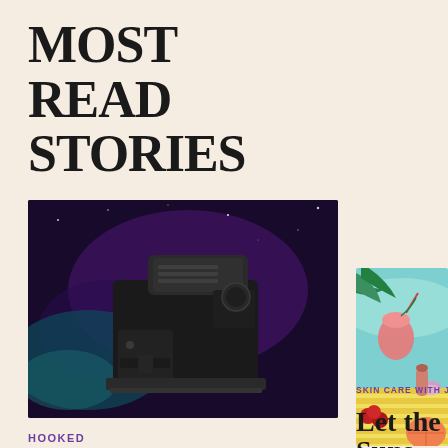MOST READ STORIES
[Figure (photo): Black espresso coffee machine against a dark purple cosmic/galaxy background with teal and purple swirls]
HOOKED
The Perfect Cup
Terra Kaffe's espresso machine
[Figure (illustration): Colorful summer illustration with tropical drink, palm leaves, macarons, cherries, grapefruit and skincare products on a beach towel]
SKIN CARE WITH JOANN
Let the Suns